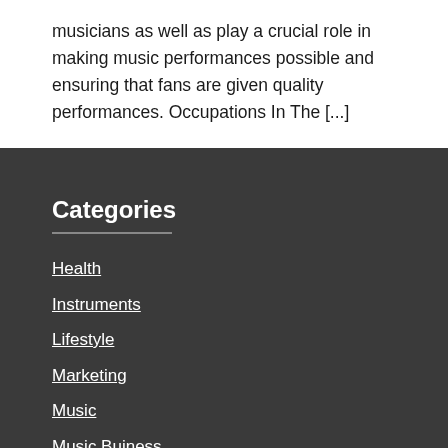musicians as well as play a crucial role in making music performances possible and ensuring that fans are given quality performances. Occupations In The [...]
Categories
Health
Instruments
Lifestyle
Marketing
Music
Music Buiness
technology